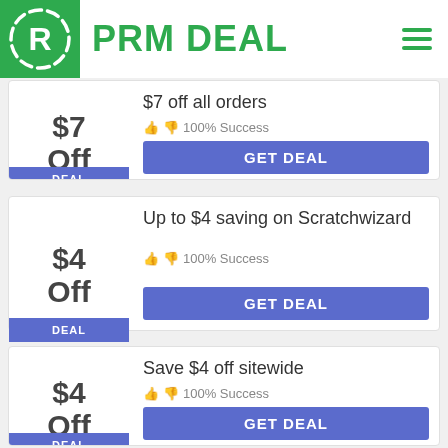[Figure (logo): PRM Deal logo with green R icon in circle and green PRM DEAL text]
$7 Off | $7 off all orders | 100% Success | DEAL | GET DEAL
$4 Off | Up to $4 saving on Scratchwizard | 100% Success | DEAL | GET DEAL
$4 Off | Save $4 off sitewide | 100% Success | DEAL | GET DEAL